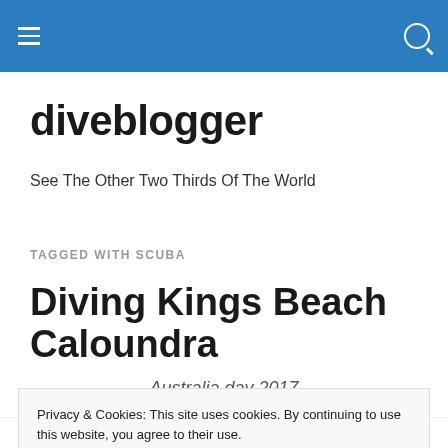diveblogger navigation bar
diveblogger
See The Other Two Thirds Of The World
TAGGED WITH SCUBA
Diving Kings Beach Caloundra
Australia day 2017
Privacy & Cookies: This site uses cookies. By continuing to use this website, you agree to their use.
To find out more, including how to control cookies, see here: Cookie Policy
Close and accept